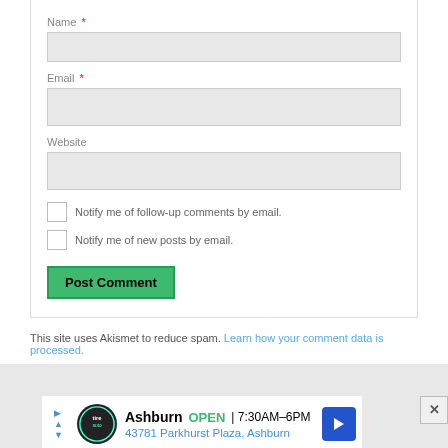Name *
Email *
Website
Notify me of follow-up comments by email.
Notify me of new posts by email.
Post Comment
This site uses Akismet to reduce spam. Learn how your comment data is processed.
[Figure (screenshot): Advertisement banner for a local auto business in Ashburn showing OPEN 7:30AM-6PM and address 43781 Parkhurst Plaza, Ashburn]